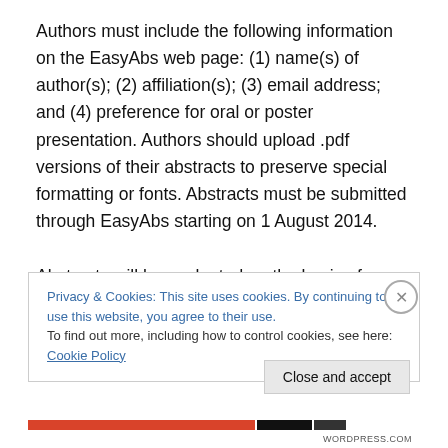Authors must include the following information on the EasyAbs web page: (1) name(s) of author(s); (2) affiliation(s); (3) email address; and (4) preference for oral or poster presentation. Authors should upload .pdf versions of their abstracts to preserve special formatting or fonts. Abstracts must be submitted through EasyAbs starting on 1 August 2014.
Abstracts will be evaluated on the basis of scope, relevance, originality, methodology, and strength of
Privacy & Cookies: This site uses cookies. By continuing to use this website, you agree to their use.
To find out more, including how to control cookies, see here: Cookie Policy
Close and accept